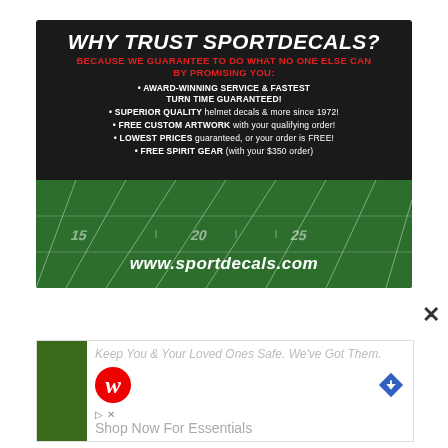[Figure (infographic): SportDecals advertisement banner on dark background with football field at bottom. Bold white italic title 'WHY TRUST SPORTDECALS?' with red subtitle about guarantees, white bullet points listing benefits, and website URL www.sportdecals.com.]
[Figure (infographic): Walgreens advertisement showing partial heading text, Walgreens 'W' logo, a blue map pin icon, and 'Shop Now For Essentials' call to action text. Left side has a dark green strip.]